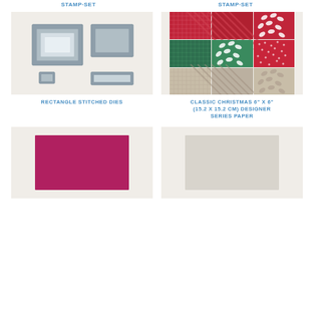[Figure (photo): Rectangle Stitched Dies product image showing nested rectangle die sets in grey on a light beige background]
RECTANGLE STITCHED DIES
[Figure (photo): Classic Christmas 6" x 6" Designer Series Paper showing red, green, and tan patterned paper samples in a grid]
CLASSIC CHRISTMAS 6" X 6" (15.2 X 15.2 CM) DESIGNER SERIES PAPER
[Figure (photo): Magenta/pink cardstock sheet on beige background]
[Figure (photo): Light grey/cream cardstock sheet on beige background]